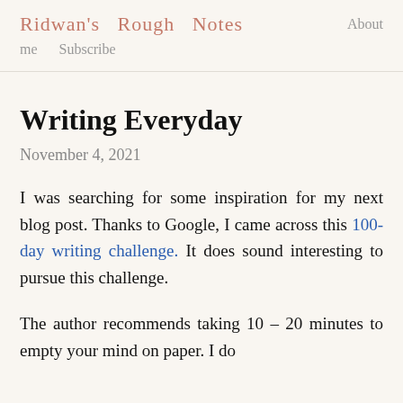Ridwan's Rough Notes   About me   Subscribe
Writing Everyday
November 4, 2021
I was searching for some inspiration for my next blog post. Thanks to Google, I came across this 100-day writing challenge. It does sound interesting to pursue this challenge.
The author recommends taking 10 – 20 minutes to empty your mind on paper. I do